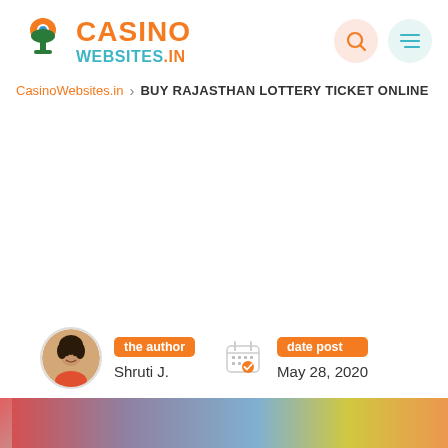[Figure (logo): CasinoWebsites.in logo with orange tree/person icon and teal/orange text]
CasinoWebsites.in > BUY RAJASTHAN LOTTERY TICKET ONLINE
the author
Shruti J.
date post
May 28, 2020
[Figure (photo): Colorful background image strip at bottom of page]